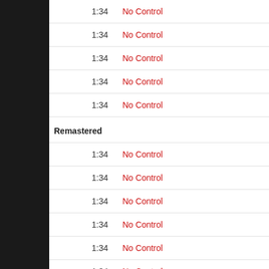| Time | Track |
| --- | --- |
| 1:34 | No Control |
| 1:34 | No Control |
| 1:34 | No Control |
| 1:34 | No Control |
| 1:34 | No Control |
Remastered
| Time | Track |
| --- | --- |
| 1:34 | No Control |
| 1:34 | No Control |
| 1:34 | No Control |
| 1:34 | No Control |
| 1:34 | No Control |
| 1:34 | No Control |
| 1:34 | No Control |
| 1:34 | No Control |
| 1:34 | No Control |
| 1:34 | No Control |
Video live 1991